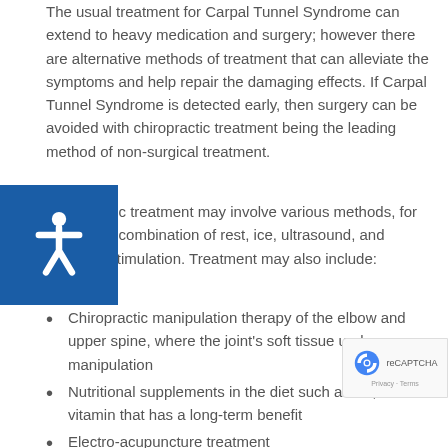The usual treatment for Carpal Tunnel Syndrome can extend to heavy medication and surgery; however there are alternative methods of treatment that can alleviate the symptoms and help repair the damaging effects. If Carpal Tunnel Syndrome is detected early, then surgery can be avoided with chiropractic treatment being the leading method of non-surgical treatment.
Chiropractic treatment may involve various methods, for instance a combination of rest, ice, ultrasound, and electrical stimulation. Treatment may also include:
Chiropractic manipulation therapy of the elbow and upper spine, where the joint's soft tissue undergoes manipulation
Nutritional supplements in the diet such as B6, a vitamin that has a long-term benefit
Electro-acupuncture treatment
Bracing, a technique that has had extensive success by limiting extension and flexion in the hand. The